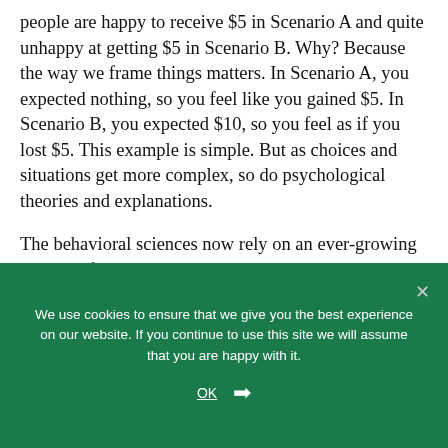people are happy to receive $5 in Scenario A and quite unhappy at getting $5 in Scenario B. Why? Because the way we frame things matters. In Scenario A, you expected nothing, so you feel like you gained $5. In Scenario B, you expected $10, so you feel as if you lost $5. This example is simple. But as choices and situations get more complex, so do psychological theories and explanations.
The behavioral sciences now rely on an ever-growing lexicon of theories and cognitive biases to explain people's choices. Yet, we have no
We use cookies to ensure that we give you the best experience on our website. If you continue to use this site we will assume that you are happy with it.